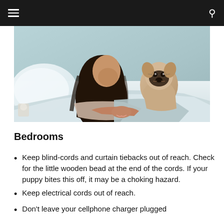[Figure (photo): A young woman with long dark hair lying on a bed in a bedroom, hugging a pug dog wrapped in a blanket, white pillows visible in the background.]
Bedrooms
Keep blind-cords and curtain tiebacks out of reach. Check for the little wooden bead at the end of the cords. If your puppy bites this off, it may be a choking hazard.
Keep electrical cords out of reach.
Don't leave your cellphone charger plugged